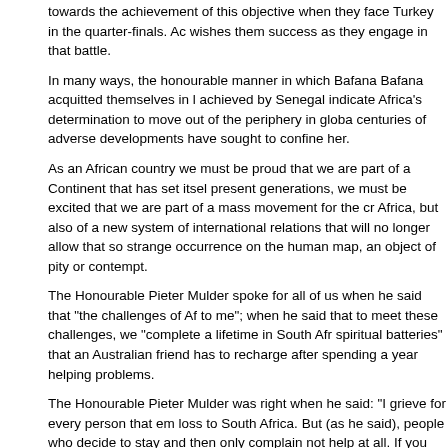towards the achievement of this objective when they face Turkey in the quarter-finals. Ac wishes them success as they engage in that battle.
In many ways, the honourable manner in which Bafana Bafana acquitted themselves in achieved by Senegal indicate Africa's determination to move out of the periphery in globa centuries of adverse developments have sought to confine her.
As an African country we must be proud that we are part of a Continent that has set itsel present generations, we must be excited that we are part of a mass movement for the cr Africa, but also of a new system of international relations that will no longer allow that so strange occurrence on the human map, an object of pity or contempt.
The Honourable Pieter Mulder spoke for all of us when he said that "the challenges of Af to me"; when he said that to meet these challenges, we "complete a lifetime in South Afr spiritual batteries" that an Australian friend has to recharge after spending a year helping problems.
The Honourable Pieter Mulder was right when he said: "I grieve for every person that em loss to South Africa. But (as he said), people who decide to stay and then only complain not help at all. If you decide to stay, become involved. Only to ask other people 'what are my position', is not good enough. Do something yourself."
What the Honourable Pieter Mulder said was - vuk'uzenzele, mAfrika!
The Honourable Marthinus van Schalkwyk was correct when he said that all of us face a isolation or participation; between talking South Africa down or believing in South Africa; partially South Africa and proudly South African."
Of course, he was speaking of the Afrikaans community, but I dare say these choices fac Africans.
Furthermore, in the context of the new and exciting African world of hope represented by the New Partnership for Africa's Development, we are confronted with the choice between and proudly African.
We must support the Honourable Pieter Mulder when he says "My heart is attached to A conditions. I want to be myself in Africa. Is that too much to ask!"
To get to the point that the Honourable Pieter Mulder correctly demands, we must reco